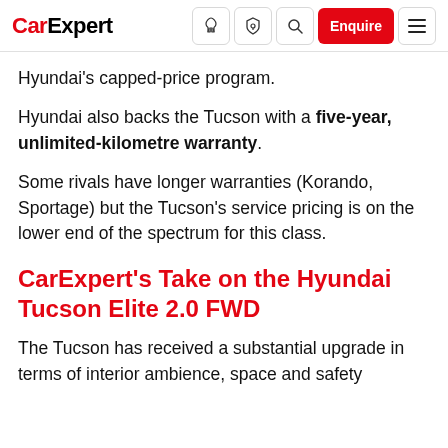CarExpert — navbar with logo, icons, Enquire button
Hyundai's capped-price program.
Hyundai also backs the Tucson with a five-year, unlimited-kilometre warranty.
Some rivals have longer warranties (Korando, Sportage) but the Tucson's service pricing is on the lower end of the spectrum for this class.
CarExpert's Take on the Hyundai Tucson Elite 2.0 FWD
The Tucson has received a substantial upgrade in terms of interior ambience, space and safety